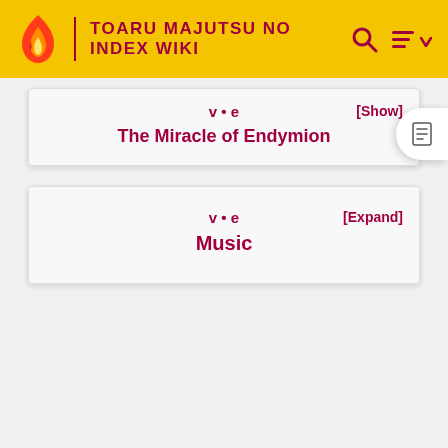TOARU MAJUTSU NO INDEX WIKI
v • e
The Miracle of Endymion
[Show]
v • e
Music
[Expand]